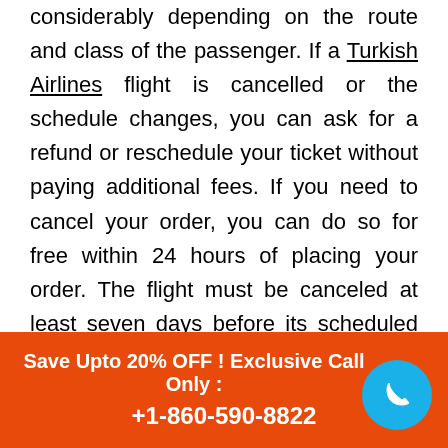considerably depending on the route and class of the passenger. If a Turkish Airlines flight is cancelled or the schedule changes, you can ask for a refund or reschedule your ticket without paying additional fees. If you need to cancel your order, you can do so for free within 24 hours of placing your order. The flight must be canceled at least seven days before its scheduled departure date. If you cancel within 24 hours of purchasing your tickets, the airline will reimburse you for the tax that you paid on
Save Upto 20% OFF ! Exclusive Call Only : +1-860-590-8822